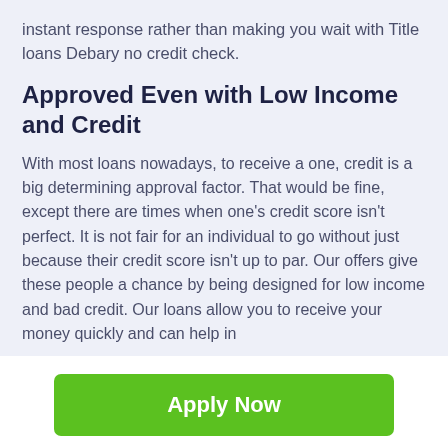instant response rather than making you wait with Title loans Debary no credit check.
Approved Even with Low Income and Credit
With most loans nowadays, to receive a one, credit is a big determining approval factor. That would be fine, except there are times when one's credit score isn't perfect. It is not fair for an individual to go without just because their credit score isn't up to par. Our offers give these people a chance by being designed for low income and bad credit. Our loans allow you to receive your money quickly and can help in
[Figure (other): Green 'Apply Now' button]
Applying does NOT affect your credit score!
No credit check to apply.